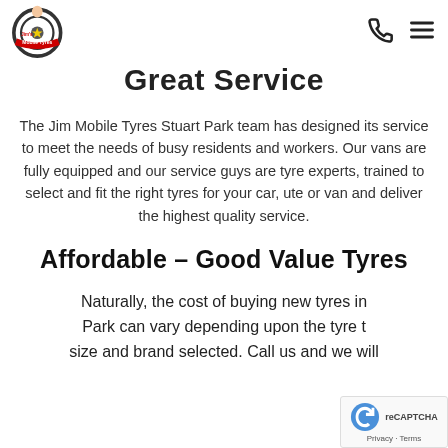Jim's Mobile Tyres [logo] [phone icon] [menu icon]
Great Service
The Jim Mobile Tyres Stuart Park team has designed its service to meet the needs of busy residents and workers. Our vans are fully equipped and our service guys are tyre experts, trained to select and fit the right tyres for your car, ute or van and deliver the highest quality service.
Affordable – Good Value Tyres
Naturally, the cost of buying new tyres in Park can vary depending upon the tyre t size and brand selected. Call us and we will